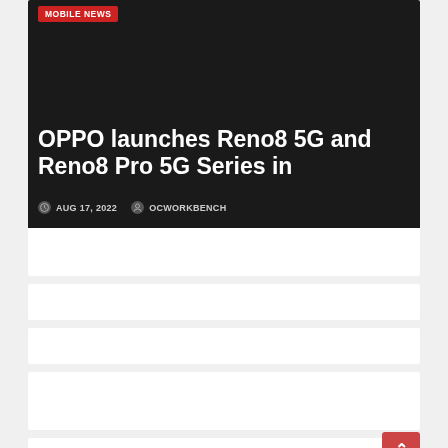[Figure (screenshot): Article card with dark background. Red badge reading 'MOBILE NEWS' at top left. Large white bold headline text: 'OPPO launches Reno8 5G and Reno8 Pro 5G Series in'. Below the headline: metadata row showing clock icon with 'AUG 17, 2022' and user icon with 'OCWORKBENCH'.]